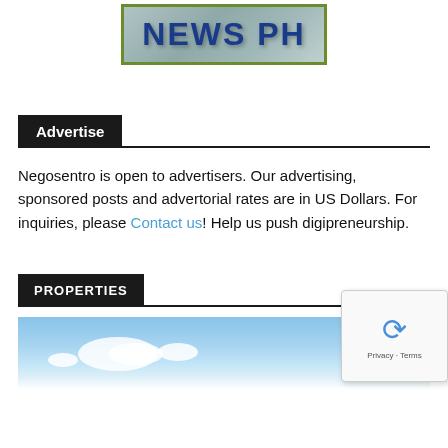[Figure (logo): NEWS PH logo with bold blue text on a muted teal/grey background, bordered by an olive green rectangle]
Advertise
Negosentro is open to advertisers. Our advertising, sponsored posts and advertorial rates are in US Dollars. For inquiries, please Contact us! Help us push digipreneurship.
PROPERTIES
[Figure (photo): Blue sky with white clouds photo]